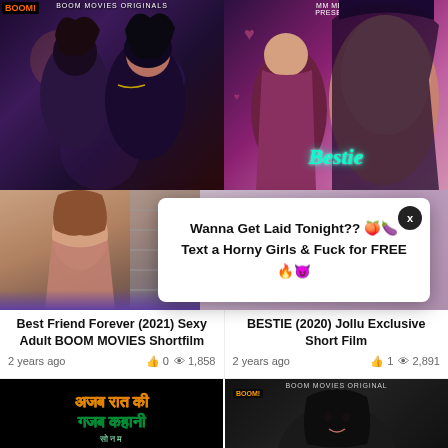[Figure (photo): Movie poster for Best Friend Forever (2021) - two women close together in dark lighting with BOOM MOVIES ORIGINALS branding]
[Figure (photo): Movie poster for BESTIE (2020) - two women, one in saree, one close up, with MM MEDIA PRESENTS and neon Bestie sign]
[Figure (photo): Thumbnail of a woman, partially visible, adult content]
Wanna Get Laid Tonight?? 🍑🍆
Text a Horny Girls & Fuck for FREE 🔥😈
Best Friend Forever (2021) Sexy Adult BOOM MOVIES Shortfilm
2 years ago   👍 0   👁 1,858
BESTIE (2020) Jollu Exclusive Short Film
2 years ago   👍 1   👁 2,891
[Figure (photo): Movie poster for Ajab Raat Ki Gazab Kahani - Hindi text in yellow/green, black background, BOOM MOVIES PRESENTS, Sonam]
[Figure (photo): Movie poster BOOM MOVIES ORIGINAL - woman with dark hair looking at camera]